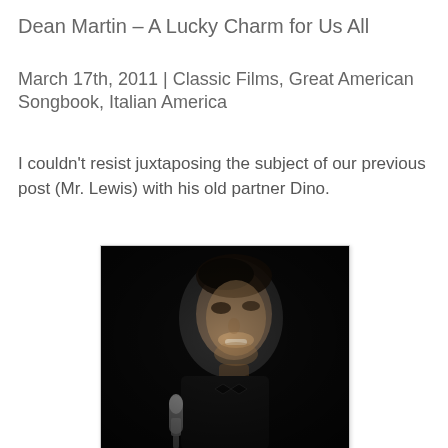Dean Martin – A Lucky Charm for Us All
March 17th, 2011 | Classic Films, Great American Songbook, Italian America
I couldn't resist juxtaposing the subject of our previous post (Mr. Lewis) with his old partner Dino.
[Figure (photo): Black and white portrait photograph of Dean Martin smiling, holding a vintage microphone, wearing a suit and bow tie, against a dark background.]